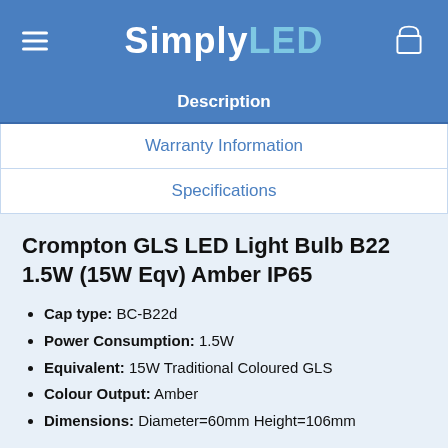SimplyLED
Description
Warranty Information
Specifications
Crompton GLS LED Light Bulb B22 1.5W (15W Eqv) Amber IP65
Cap type: BC-B22d
Power Consumption: 1.5W
Equivalent: 15W Traditional Coloured GLS
Colour Output: Amber
Dimensions: Diameter=60mm Height=106mm
This amber LED GLS is part of a